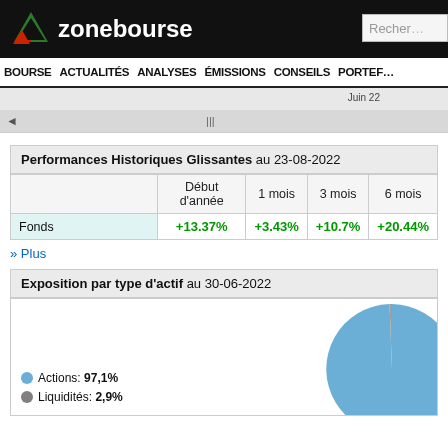zonebourse — Recherche
BOURSE ACTUALITÉS ANALYSES ÉMISSIONS CONSEILS PORTEFEUILLE
Performances Historiques Glissantes au 23-08-2022
|  | Début d'année | 1 mois | 3 mois | 6 mois |
| --- | --- | --- | --- | --- |
| Fonds | +13.37% | +3.43% | +10.7% | +20.44% |
» Plus
Exposition par type d'actif au 30-06-2022
[Figure (pie-chart): Exposition par type d'actif]